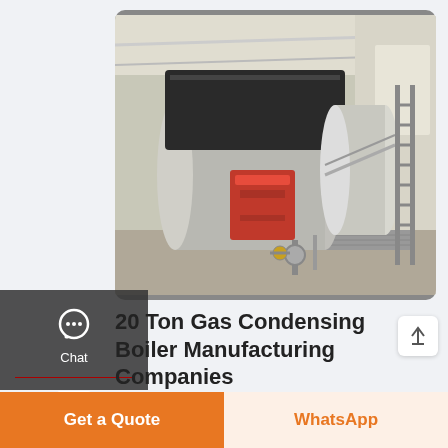[Figure (photo): Industrial gas condensing boiler in a factory/warehouse setting. Large cylindrical silver boiler with a red burner component and black top section, with piping and control equipment visible. Clean white industrial building interior.]
20 Ton Gas Condensing Boiler Manufacturing Companies
price boiler 20 ton high efficiency azerbaijan. 20 ton biomass boiler agent price commercial azerbaijan. 20 ton biomass boiler agent price commercial azerbaijan All equipment (includes boiler proper economizer burner valves instrument electric control cabinet